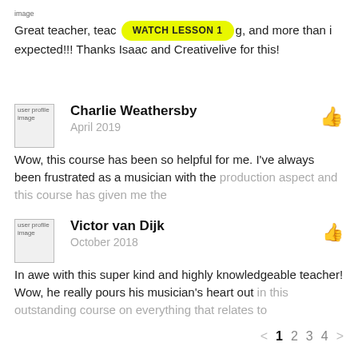image
Great teacher, teac[WATCH LESSON 1]g, and more than i expected!!! Thanks Isaac and Creativelive for this!
[Figure (photo): Broken user profile image placeholder for Charlie Weathersby]
Charlie Weathersby
April 2019
Wow, this course has been so helpful for me. I've always been frustrated as a musician with the production aspect and this course has given me the
[Figure (photo): Broken user profile image placeholder for Victor van Dijk]
Victor van Dijk
October 2018
In awe with this super kind and highly knowledgeable teacher! Wow, he really pours his musician's heart out in this outstanding course on everything that relates to
< 1 2 3 4 >